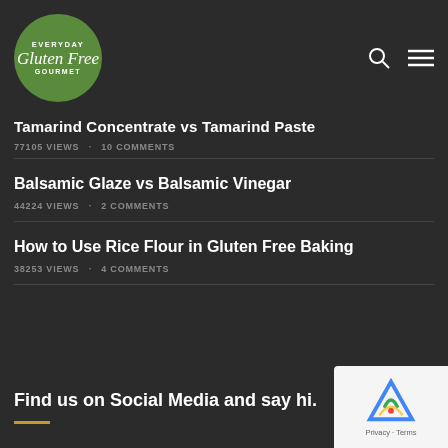Everyday Gluten Free Gourmet
Tamarind Concentrate vs Tamarind Paste
77105 VIEWS · 10 COMMENTS
Balsamic Glaze vs Balsamic Vinegar
44224 VIEWS · 2 COMMENTS
How to Use Rice Flour in Gluten Free Baking
38253 VIEWS · 4 COMMENTS
Find us on Social Media and say hi.